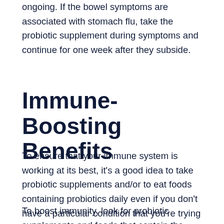ongoing. If the bowel symptoms are associated with stomach flu, take the probiotic supplement during symptoms and continue for one week after they subside.
Immune-Boosting Benefits
To ensure that your immune system is working at its best, it's a good idea to take probiotic supplements and/or to eat foods containing probiotics daily even if you don't have a particular condition that you're trying to treat.
To boost immunity, look for probiotic supplements and foods that contain the bacterium Lactobacillus